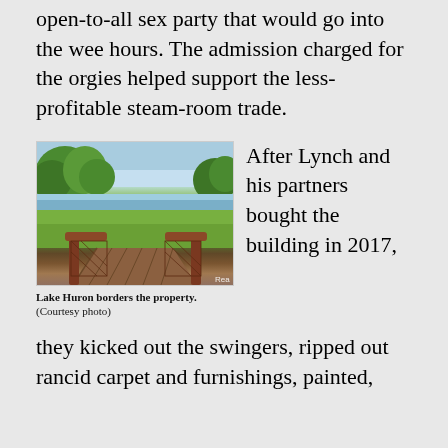open-to-all sex party that would go into the wee hours. The admission charged for the orgies helped support the less-profitable steam-room trade.
[Figure (photo): Outdoor waterfront scene showing Lake Huron from property with wooden deck/boardwalk in foreground, green lawn, trees, and lake in background.]
Lake Huron borders the property. (Courtesy photo)
After Lynch and his partners bought the building in 2017,
they kicked out the swingers, ripped out rancid carpet and furnishings, painted,